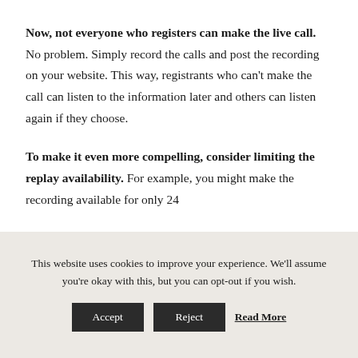Now, not everyone who registers can make the live call. No problem. Simply record the calls and post the recording on your website. This way, registrants who can't make the call can listen to the information later and others can listen again if they choose.
To make it even more compelling, consider limiting the replay availability. For example, you might make the recording available for only 24
This website uses cookies to improve your experience. We'll assume you're okay with this, but you can opt-out if you wish.